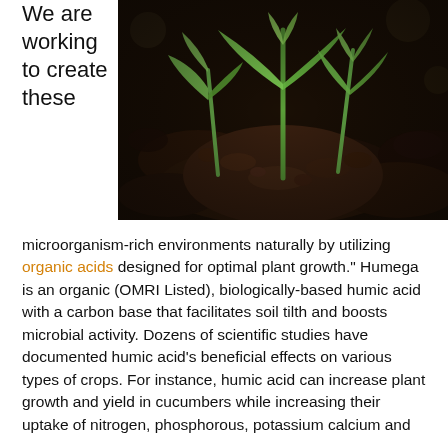We are working to create these
[Figure (photo): Close-up photo of young green seedlings sprouting from rich dark soil]
microorganism-rich environments naturally by utilizing organic acids designed for optimal plant growth." Humega is an organic (OMRI Listed), biologically-based humic acid with a carbon base that facilitates soil tilth and boosts microbial activity. Dozens of scientific studies have documented humic acid's beneficial effects on various types of crops. For instance, humic acid can increase plant growth and yield in cucumbers while increasing their uptake of nitrogen, phosphorous, potassium calcium and